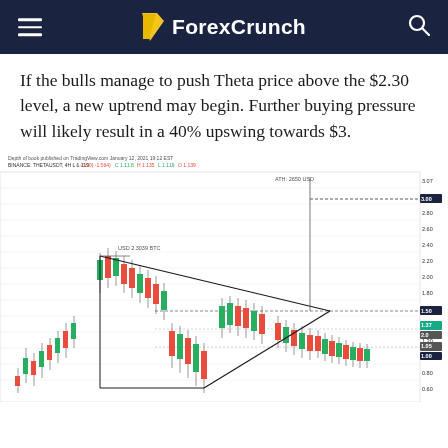ForexCrunch
If the bulls manage to push Theta price above the $2.30 level, a new uptrend may begin. Further buying pressure will likely result in a 40% upswing towards $3.
[Figure (continuous-plot): Candlestick chart of THETA/USDT showing a symmetrical triangle/wedge pattern. Price formed a peak around $2.30 with a descending resistance line and an ascending support line converging. A vertical dashed line projects upward to a target around $3.00+. Key price levels marked on right axis: approximately 3.00, 1.50 (current/resistance), 1.37, 1.05, and lower levels down to 1.00.]